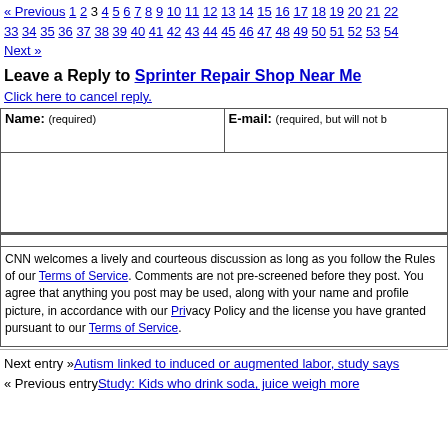« Previous 1 2 3 4 5 6 7 8 9 10 11 12 13 14 15 16 17 18 19 20 21 22 33 34 35 36 37 38 39 40 41 42 43 44 45 46 47 48 49 50 51 52 53 54 Next »
Leave a Reply to Sprinter Repair Shop Near Me
Click here to cancel reply.
| Name: (required) | E-mail: (required, but will not be published) |
| --- | --- |
|  |  |
CNN welcomes a lively and courteous discussion as long as you follow the Rules of our Terms of Service. Comments are not pre-screened before they post. You agree that anything you post may be used, along with your name and profile picture, in accordance with our Privacy Policy and the license you have granted pursuant to our Terms of Service.
Next entry »Autism linked to induced or augmented labor, study says
« Previous entryStudy: Kids who drink soda, juice weigh more